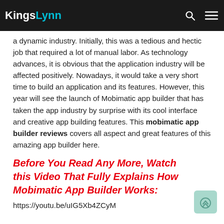KingsLynn
a dynamic industry. Initially, this was a tedious and hectic job that required a lot of manual labor. As technology advances, it is obvious that the application industry will be affected positively. Nowadays, it would take a very short time to build an application and its features. However, this year will see the launch of Mobimatic app builder that has taken the app industry by surprise with its cool interface and creative app building features. This mobimatic app builder reviews covers all aspect and great features of this amazing app builder here.
Before You Read Any More, Watch this Video That Fully Explains How Mobimatic App Builder Works:
https://youtu.be/uIG5Xb4ZCyM